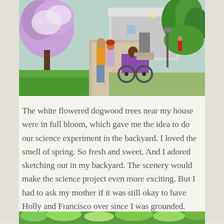[Figure (screenshot): A screenshot from The Sims 4 video game showing characters walking along a garden path toward a house. One character in a yellow shirt and gray pants is walking with a red-haired character, while another character in a purple patterned wheelchair is nearby. There are white-flowered trees (resembling dogwood/wisteria) and green trees in the background, with a white house visible.]
The white flowered dogwood trees near my house were in full bloom, which gave me the idea to do our science experiment in the backyard. I loved the smell of spring. So fresh and sweet. And I adored sketching out in my backyard. The scenery would make the science project even more exciting. But I had to ask my mother if it was still okay to have Holly and Francisco over since I was grounded.
[Figure (screenshot): Partial screenshot from The Sims 4 showing green garden scenery, cropped at the bottom of the page.]